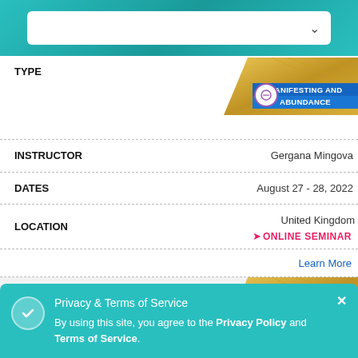[Figure (screenshot): Dropdown selector box with white background and down-arrow chevron on teal/cyan gradient bar]
TYPE
[Figure (illustration): Manifesting and Abundance badge with wheat/grain background, purple circle icon, and blue ribbon text]
INSTRUCTOR    Gergana Mingova
DATES    August 27 - 28, 2022
LOCATION    United Kingdom
ONLINE SEMINAR
Learn More
TYPE
[Figure (illustration): Manifesting and Abundance badge second instance]
INSTRUCTOR    ova
DATES    August 27 - 28, 2022
Privacy & Terms of Service
By using this site, you agree to the Privacy Policy and Terms of Service.